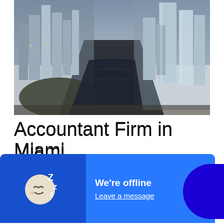[Figure (photo): Aerial view of Miami cityscape with river/waterway running through downtown, high-rise buildings on both sides, dusk/night lighting]
Accountant Firm in Miami
Must Get Digitally Changing
[Figure (screenshot): Chat widget overlay showing sleeping moon face emoji on dark blue left panel, and 'We're offline / Leave a message' text on lighter blue right panel, with minimize button (–). A separate blue cloud/blob shape appears on the right with 'e now' text partially visible.]
affect the accounting profession and ultimately be our business lives...